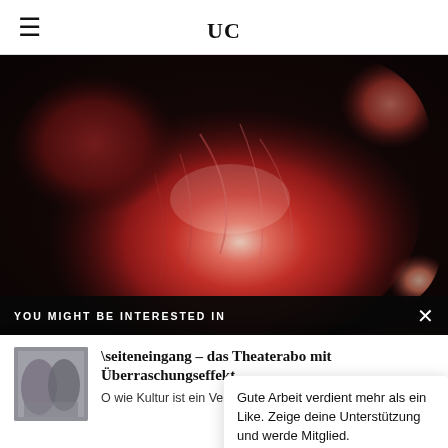uc
[Figure (photo): Close-up photo of a peeled grapefruit or blood orange held in a hand, showing vivid red and pink flesh segments against a dark background.]
YOU MIGHT BE INTERESTED IN
[Figure (photo): Thumbnail image of two people standing against a brick wall background.]
\seiteneingang – das Theaterabo mit Überraschungseffekt
O wie Kultur ist ein Verein
Diese Web
Gute Arbeit verdient mehr als ein Like. Zeige deine Unterstützung und werde Mitglied.
UNTERSTÜTZEN